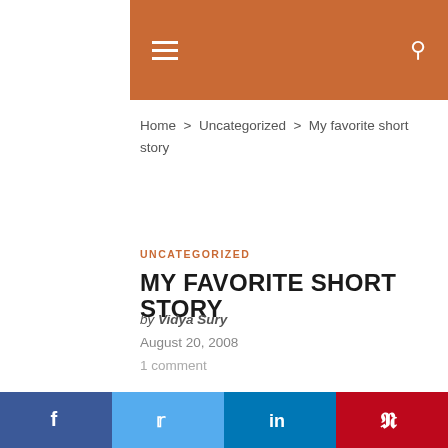Navigation header with hamburger menu and search icon
Home > Uncategorized > My favorite short story
UNCATEGORIZED
MY FAVORITE SHORT STORY
by Vidya Sury
August 20, 2008
1 comment
We use cookies on our website to give you the most relevant experience by remembering your preferences and repeat visits. By clicking “Accept”, you consent to the use of ALL the cookies.
Do not sell my personal information.
Cookie Settings   Accept
f   Twitter   in   Pinterest